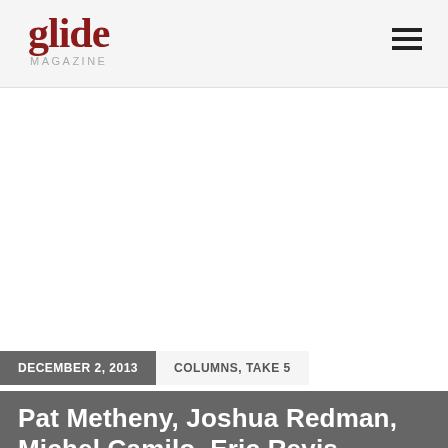glide MAGAZINE
[Figure (other): Large blank white image area below the header, representing an article featured image placeholder]
DECEMBER 2, 2013   COLUMNS, TAKE 5
Pat Metheny, Joshua Redman, Michel Camilo, Eric Revis, Branford Marsalis